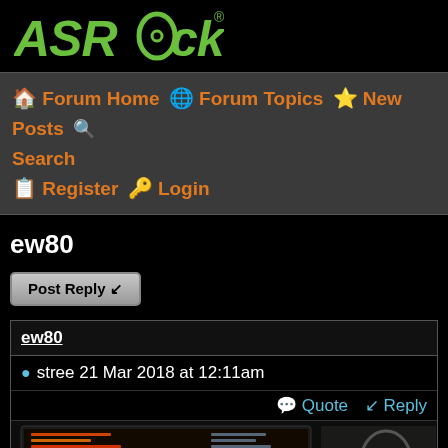[Figure (logo): ASRock logo in green italic bold font with circular symbol in the O]
🏠 Forum Home 🌐 Forum Topics ⭐ New Posts 🔍 Search 📋 Register 🔑 Login
ew80
Post Reply
ew80
● stree 21 Mar 2018 at 12:11am
💬 Quote  ↩ Reply
[Figure (photo): Dark photo of a desktop computer setup with monitors showing colorful text/code on screen, cables, and a headset visible on the right side]